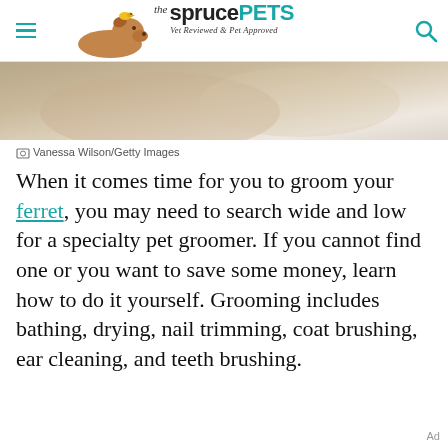the spruce PETS — Vet Reviewed & Pet Approved
[Figure (photo): Partial view of a light-colored furry animal (likely a ferret or similar pet) against a cream/beige background]
Vanessa Wilson/Getty Images
When it comes time for you to groom your ferret, you may need to search wide and low for a specialty pet groomer. If you cannot find one or you want to save some money, learn how to do it yourself. Grooming includes bathing, drying, nail trimming, coat brushing, ear cleaning, and teeth brushing.